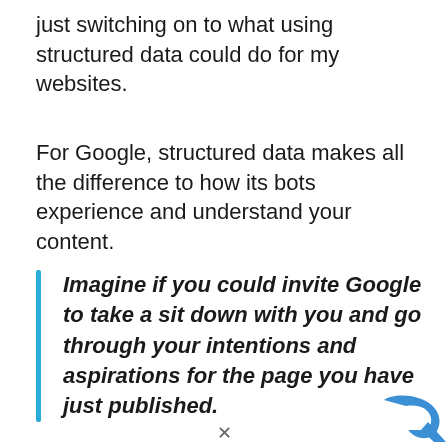just switching on to what using structured data could do for my websites.
For Google, structured data makes all the difference to how its bots experience and understand your content.
Imagine if you could invite Google to take a sit down with you and go through your intentions and aspirations for the page you have just published.
[Figure (logo): Partial logo image at bottom right corner, showing blue arrow/bird shape]